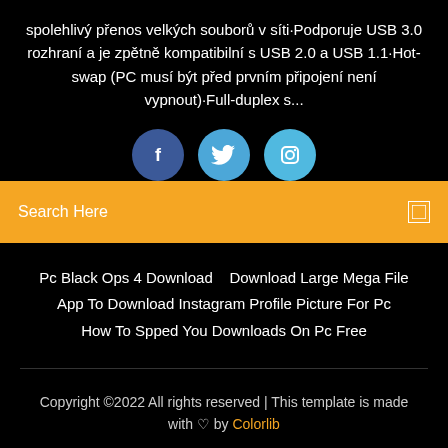spolehlivý přenos velkých souborů v síti·Podporuje USB 3.0 rozhraní a je zpětně kompatibilní s USB 2.0 a USB 1.1·Hot-swap (PC musí být před prvním připojení není vypnout)·Full-duplex s...
[Figure (illustration): Three social media icon buttons: Facebook (dark blue circle with 'f'), Twitter (medium blue circle with bird icon), Instagram (light blue circle with camera icon)]
Search Here
Pc Black Ops 4 Download   Download Large Mega File
App To Download Instagram Profile Picture For Pc
How To Spped You Downloads On Pc Free
Copyright ©2022 All rights reserved | This template is made with ♡ by Colorlib